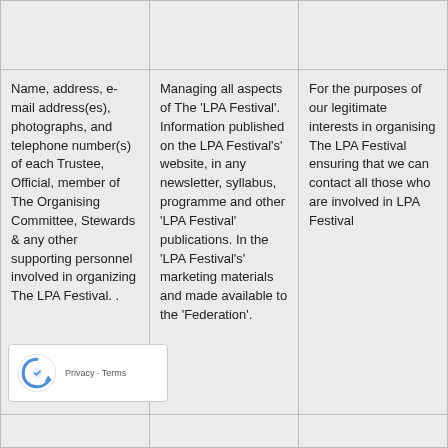|  |  |  |
| Name, address, e-mail address(es), photographs, and telephone number(s) of each Trustee, Official, member of The Organising Committee, Stewards & any other supporting personnel involved in organizing The LPA Festival. . | Managing all aspects of The 'LPA Festival'. Information published on the LPA Festival's' website, in any newsletter, syllabus, programme and other 'LPA Festival' publications. In the 'LPA Festival's' marketing materials and made available to the 'Federation'. | For the purposes of our legitimate interests in organising The LPA Festival ensuring that we can contact all those who are involved in LPA Festival |
|  |  |  |